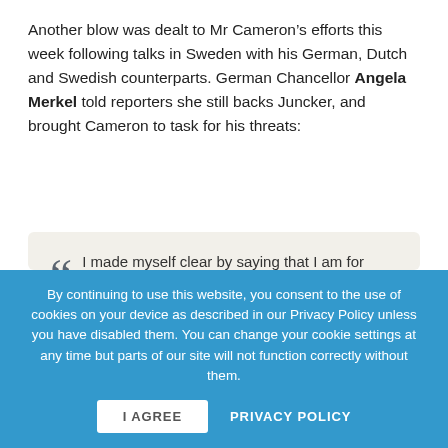Another blow was dealt to Mr Cameron's efforts this week following talks in Sweden with his German, Dutch and Swedish counterparts. German Chancellor Angela Merkel told reporters she still backs Juncker, and brought Cameron to task for his threats:
I made myself clear by saying that I am for Jean-Claude Juncker. But when I made that statement in Germany I also made the point that we act in a European spirit. We always do that because otherwise
By continuing to use this website, you consent to the use of cookies on your device as described in our Privacy Policy unless you have disabled them. You can change your cookie settings at any time but parts of our site will not function correctly without them.